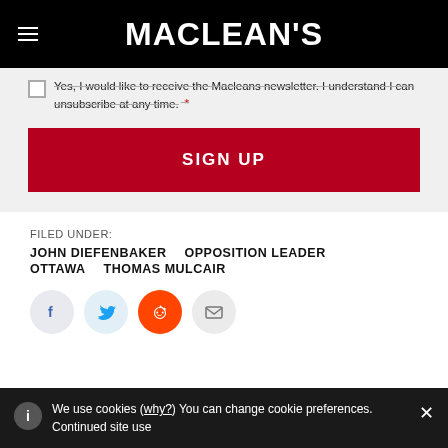MACLEAN'S
Yes, I would like to receive the Macleans newsletter. I understand I can unsubscribe at any time. *
SIGN UP
FILED UNDER:
JOHN DIEFENBAKER    OPPOSITION LEADER
OTTAWA    THOMAS MULCAIR
[Figure (infographic): Social sharing icons: Facebook, Twitter, Reddit, Email]
We use cookies (why?) You can change cookie preferences. Continued site use